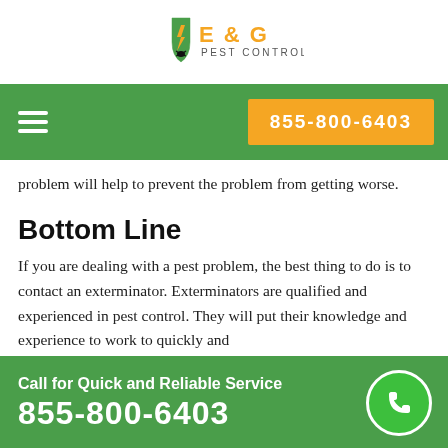[Figure (logo): E & G Pest Control logo with shield and lightning bolt icon]
problem will help to prevent the problem from getting worse.
Bottom Line
If you are dealing with a pest problem, the best thing to do is to contact an exterminator. Exterminators are qualified and experienced in pest control. They will put their knowledge and experience to work to quickly and
Call for Quick and Reliable Service 855-800-6403